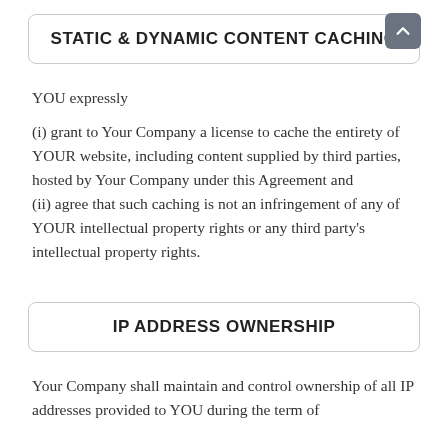STATIC & DYNAMIC CONTENT CACHING
YOU expressly
(i) grant to Your Company a license to cache the entirety of YOUR website, including content supplied by third parties, hosted by Your Company under this Agreement and
(ii) agree that such caching is not an infringement of any of YOUR intellectual property rights or any third party's intellectual property rights.
IP ADDRESS OWNERSHIP
Your Company shall maintain and control ownership of all IP addresses provided to YOU during the term of